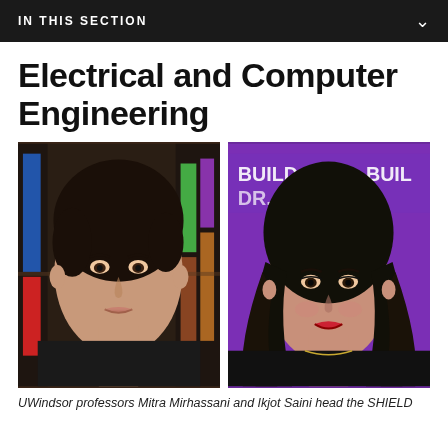IN THIS SECTION
Electrical and Computer Engineering
[Figure (photo): Two side-by-side portrait photos of UWindsor professors Mitra Mirhassani (left, short dark hair, bookshelf background) and Ikjot Saini (right, long dark hair, purple 'BUILD A DREAM' banner background)]
UWindsor professors Mitra Mirhassani and Ikjot Saini head the SHIELD